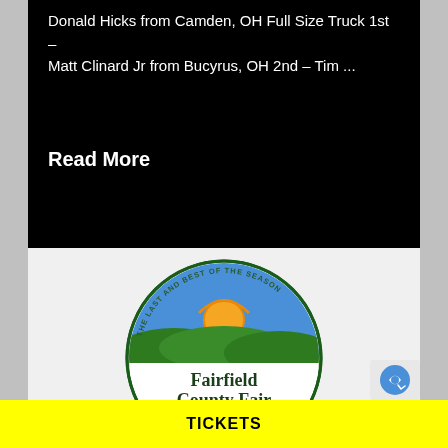Donald Hicks from Camden, OH Full Size Truck 1st – Matt Clinard Jr from Bucyrus, OH 2nd – Tim ...
Read More
[Figure (logo): Fairfield County Fair circular logo with tagline 'The Last and Best of the Season' and '#FairStrong' banner at bottom. Features green hills, blue sky, and yellow sun.]
TICKETS